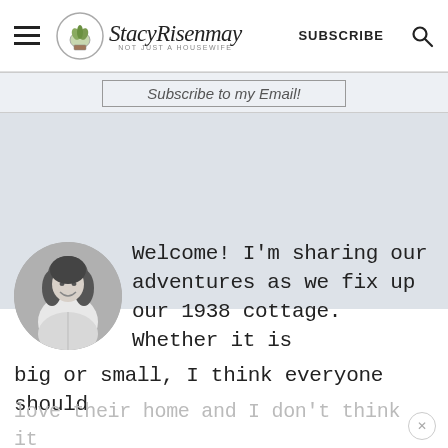StacyRisenmay — NOT JUST A HOUSEWIFE | SUBSCRIBE
Subscribe to my Email!
[Figure (photo): Black and white circular portrait photo of a woman with wavy hair, smiling]
Welcome! I'm sharing our adventures as we fix up our 1938 cottage. Whether it is big or small, I think everyone should love their home and I don't think it takes a lot of money to make a space